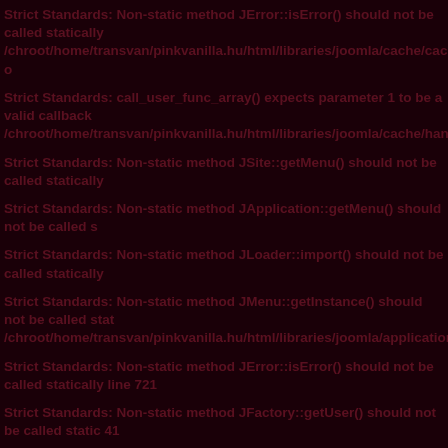Strict Standards: Non-static method JError::isError() should not be called statically /chroot/home/transvan/pinkvanilla.hu/html/libraries/joomla/cache/cache.php o
Strict Standards: call_user_func_array() expects parameter 1 to be a valid callback /chroot/home/transvan/pinkvanilla.hu/html/libraries/joomla/cache/handler/callb
Strict Standards: Non-static method JSite::getMenu() should not be called statically
Strict Standards: Non-static method JApplication::getMenu() should not be called s
Strict Standards: Non-static method JLoader::import() should not be called statically
Strict Standards: Non-static method JMenu::getInstance() should not be called stat /chroot/home/transvan/pinkvanilla.hu/html/libraries/joomla/application/applica
Strict Standards: Non-static method JError::isError() should not be called statically line 721
Strict Standards: Non-static method JFactory::getUser() should not be called static 41
Strict Standards: Non-static method JLoader::import() should not be called statically
Strict Standards: Non-static method JFactory::getSession() should not be called sta
Strict Standards: Non-static method JRegistryFormat::getInstance() should not be /chroot/home/transvan/pinkvanilla.hu/html/libraries/joomla/registry/registry.p